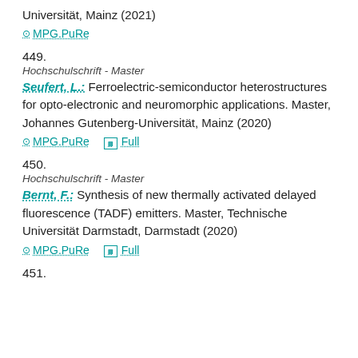Universität, Mainz (2021)
MPG.PuRe
449.
Hochschulschrift - Master
Seufert, L.: Ferroelectric-semiconductor heterostructures for opto-electronic and neuromorphic applications. Master, Johannes Gutenberg-Universität, Mainz (2020)
MPG.PuRe   Full
450.
Hochschulschrift - Master
Bernt, F.: Synthesis of new thermally activated delayed fluorescence (TADF) emitters. Master, Technische Universität Darmstadt, Darmstadt (2020)
MPG.PuRe   Full
451.